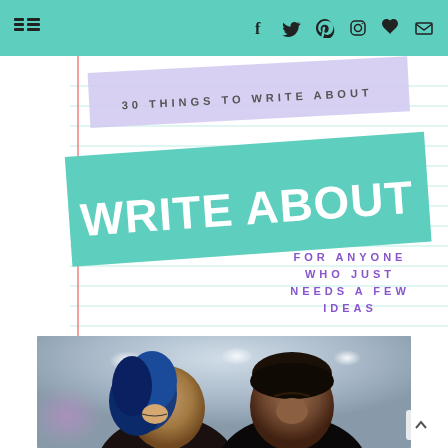Navigation and social media icons header bar
[Figure (infographic): Notebook-style graphic with teal background banner reading WRITE ABOUT in large white bold text, with text 30 THINGS TO WRITE ABOUT above it, and below FOR ANYONE WHO JUST NEEDS A FEW IDEAS in purple spaced lettering, all on a ruled notebook paper background with red margin line]
[Figure (photo): Photo of two people (a woman with blue hair and a man) in what appears to be an indoor setting with ceiling lights]